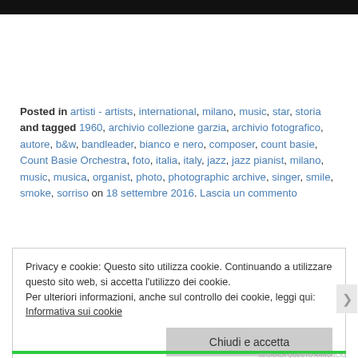[Figure (other): Black bar at the top of the page, part of website header image]
Posted in artisti - artists, international, milano, music, star, storia and tagged 1960, archivio collezione garzia, archivio fotografico, autore, b&w, bandleader, bianco e nero, composer, count basie, Count Basie Orchestra, foto, italia, italy, jazz, jazz pianist, milano, music, musica, organist, photo, photographic archive, singer, smile, smoke, sorriso on 18 settembre 2016. Lascia un commento
Privacy e cookie: Questo sito utilizza cookie. Continuando a utilizzare questo sito web, si accetta l'utilizzo dei cookie.
Per ulteriori informazioni, anche sul controllo dei cookie, leggi qui:
Informativa sui cookie